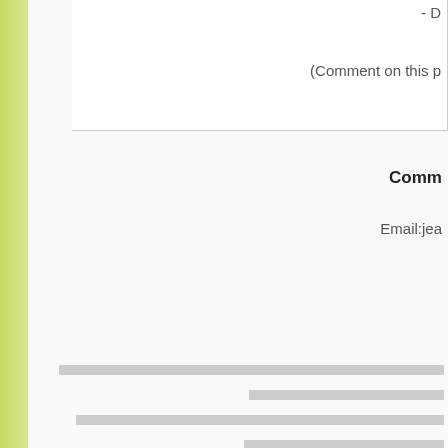- D...
(Comment on this p...
Comm...
Email:jea...
[redacted lines]
Posted by J...
[redacted line]
Posted by Qi...
[redacted line]